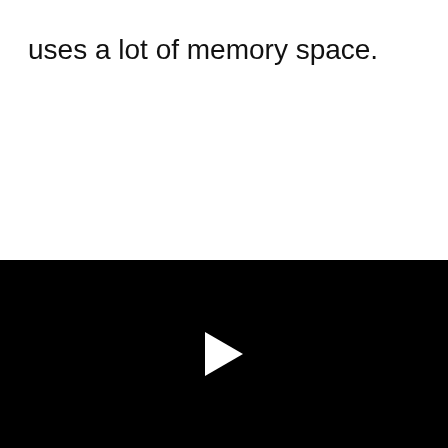uses a lot of memory space.
[Figure (other): Black video player area with a white play button triangle centered in the frame]